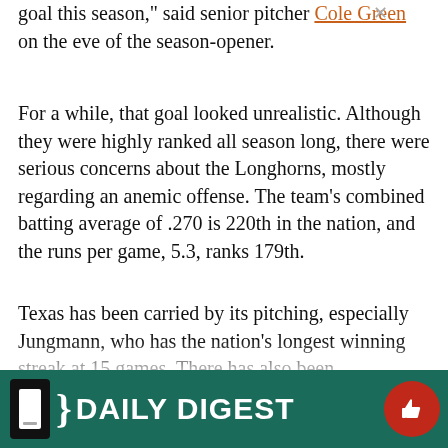goal this season," said senior pitcher Cole Green on the eve of the season-opener.
For a while, that goal looked unrealistic. Although they were highly ranked all season long, there were serious concerns about the Longhorns, mostly regarding an anemic offense. The team's combined batting average of .270 is 220th in the nation, and the runs per game, 5.3, ranks 179th.
Texas has been carried by its pitching, especially Jungmann, who has the nation's longest winning streak at 15 games. There has also been unexpected help from the freshmen, namely Erich Weiss, Mark Payton and Jacob Felts. Weiss leads the team in almost every offensive category and was n... Payto... and his... had the Big 12 Freshman of the Year...
[Figure (infographic): Daily Digest app promotion banner with teal/dark green background, phone icon, curly brace, 'DAILY DIGEST' text in white bold capitals, and a red thumbs-up circle button on the right. A small close (x) button appears above the banner.]